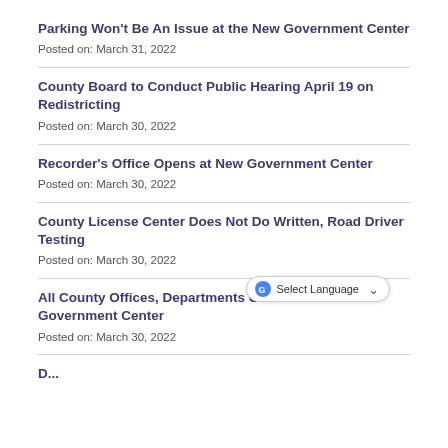Parking Won't Be An Issue at the New Government Center
Posted on: March 31, 2022
County Board to Conduct Public Hearing April 19 on Redistricting
Posted on: March 30, 2022
Recorder's Office Opens at New Government Center
Posted on: March 30, 2022
County License Center Does Not Do Written, Road Driver Testing
Posted on: March 30, 2022
All County Offices, Departments Closed at Old Government Center
Posted on: March 30, 2022
...